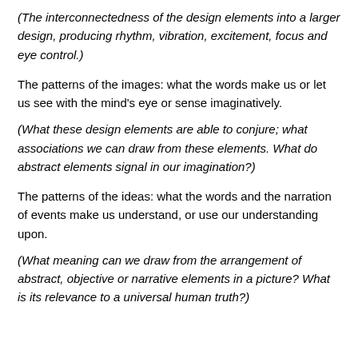(The interconnectedness of the design elements into a larger design, producing rhythm, vibration, excitement, focus and eye control.)
The patterns of the images: what the words make us or let us see with the mind's eye or sense imaginatively.
(What these design elements are able to conjure; what associations we can draw from these elements. What do abstract elements signal in our imagination?)
The patterns of the ideas: what the words and the narration of events make us understand, or use our understanding upon.
(What meaning can we draw from the arrangement of abstract, objective or narrative elements in a picture? What is its relevance to a universal human truth?)